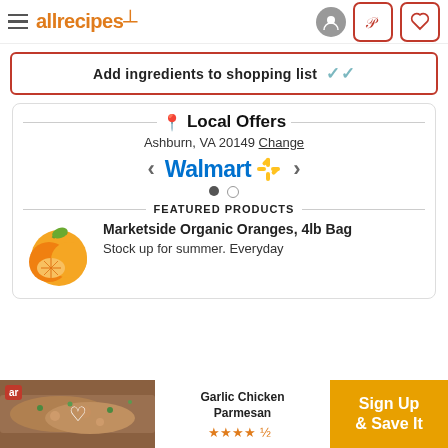allrecipes
Add ingredients to shopping list
Local Offers
Ashburn, VA 20149 Change
[Figure (logo): Walmart logo with spark icon]
FEATURED PRODUCTS
[Figure (photo): Marketside Organic Oranges, 4lb Bag product image]
Marketside Organic Oranges, 4lb Bag
Stock up for summer. Everyday
[Figure (screenshot): Bottom ad bar: Garlic Chicken Parmesan - Sign Up & Save It]